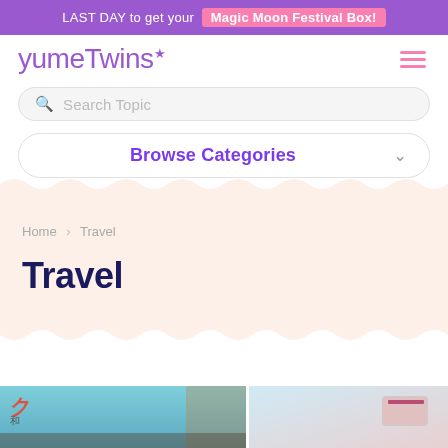LAST DAY to get your Magic Moon Festival Box!
[Figure (logo): YumeTwins logo in purple cursive font with a star]
Search Topic
Browse Categories
Home › Travel
Travel
[Figure (photo): Bottom strip showing a Japanese street scene and a credit card]